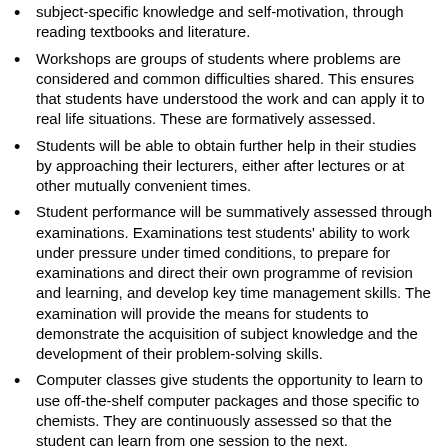subject-specific knowledge and self-motivation, through reading textbooks and literature.
Workshops are groups of students where problems are considered and common difficulties shared. This ensures that students have understood the work and can apply it to real life situations. These are formatively assessed.
Students will be able to obtain further help in their studies by approaching their lecturers, either after lectures or at other mutually convenient times.
Student performance will be summatively assessed through examinations. Examinations test students' ability to work under pressure under timed conditions, to prepare for examinations and direct their own programme of revision and learning, and develop key time management skills. The examination will provide the means for students to demonstrate the acquisition of subject knowledge and the development of their problem-solving skills.
Computer classes give students the opportunity to learn to use off-the-shelf computer packages and those specific to chemists. They are continuously assessed so that the student can learn from one session to the next.
A practical course on programming in the context of computational chemistry with continuously assessed exercises